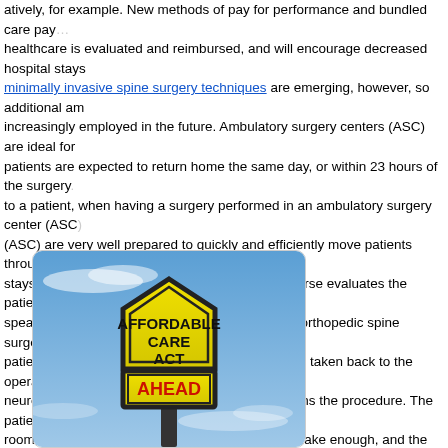atively, for example. New methods of pay for performance and bundled care payments mean that healthcare is evaluated and reimbursed, and will encourage decreased hospital stays. minimally invasive spine surgery techniques are emerging, however, so additional ambulatory techniques will be increasingly employed in the future. Ambulatory surgery centers (ASC) are ideal for outpatient surgery, where patients are expected to return home the same day, or within 23 hours of the surgery. There are many benefits to a patient, when having a surgery performed in an ambulatory surgery center (ASC). Ambulatory surgery centers (ASC) are very well prepared to quickly and efficiently move patients through the pre-operative process. The patient stays briefly in the preop holding area while the nurse evaluates the patient, the anesthesiologist or nurse anesthetist speaks with the patient, and the neurosurgeon or orthopedic spine surgeon identifies the patient (to prevent wrong patient surgery from occurring). The patient is then taken back to the operating room, where the neurosurgeon or orthopedic spine surgeon performs the procedure. The patient is then taken to the recovery room, and usually held there until the patient is awake enough, and the pain is well controlled, before escorting of the patient home.
[Figure (photo): A road sign showing 'AFFORDABLE CARE ACT' on a pentagon/school-zone shaped yellow sign with black border, and below it a rectangular yellow sign with red bold text reading 'AHEAD', mounted on a pole against a blue sky with light clouds.]